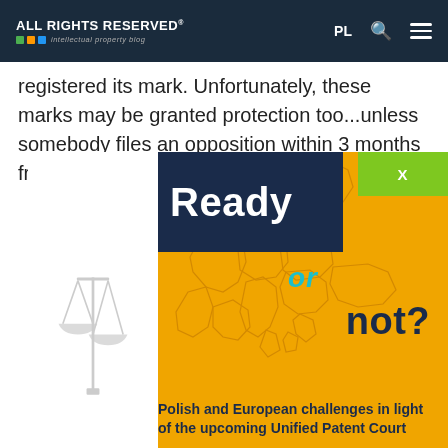ALL RIGHTS RESERVED® intellectual property blog | PL
registered its mark. Unfortunately, these marks may be granted protection too...unless somebody files an opposition within 3 months from the publication of
[Figure (infographic): Popup advertisement for an event titled 'Ready or not? Polish and European challenges in light of the upcoming Unified Patent Court'. Features a map of Europe on an orange background, with 'Ready' in white on dark blue, 'or' in teal italic, 'not?' in dark blue bold, and the subtitle text below. A green X close button is in the top right. A justice scales icon appears on the left white strip.]